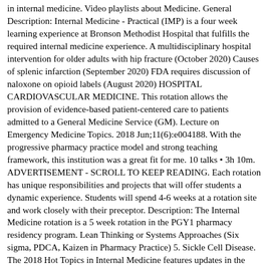in internal medicine. Video playlists about Medicine. General Description: Internal Medicine - Practical (IMP) is a four week learning experience at Bronson Methodist Hospital that fulfills the required internal medicine experience. A multidisciplinary hospital intervention for older adults with hip fracture (October 2020) Causes of splenic infarction (September 2020) FDA requires discussion of naloxone on opioid labels (August 2020) HOSPITAL CARDIOVASCULAR MEDICINE. This rotation allows the provision of evidence-based patient-centered care to patients admitted to a General Medicine Service (GM). Lecture on Emergency Medicine Topics. 2018 Jun;11(6):e004188. With the progressive pharmacy practice model and strong teaching framework, this institution was a great fit for me. 10 talks • 3h 10m. ADVERTISEMENT - SCROLL TO KEEP READING. Each rotation has unique responsibilities and projects that will offer students a dynamic experience. Students will spend 4-6 weeks at a rotation site and work closely with their preceptor. Description: The Internal Medicine rotation is a 5 week rotation in the PGY1 pharmacy residency program. Lean Thinking or Systems Approaches (Six sigma, PDCA, Kaizen in Pharmacy Practice) 5. Sickle Cell Disease. The 2018 Hot Topics in Internal Medicine features updates in the diagnosis and treatment of diseases that most impact your practice. 4 Department of Pharmacy Practice and Administration, College of Pharmacy, Western University of Health Sciences. ... 10 General Internal Medicine and Health